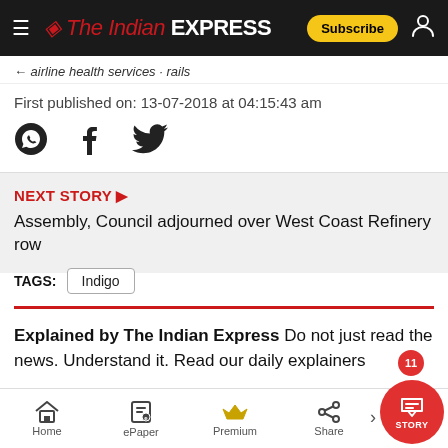The Indian Express — Subscribe
First published on: 13-07-2018 at 04:15:43 am
NEXT STORY ▶
Assembly, Council adjourned over West Coast Refinery row
TAGS: Indigo
Explained by The Indian Express Do not just read the news. Understand it. Read our daily explainers
READ NOW >
Home | ePaper | Premium | Share | STORY